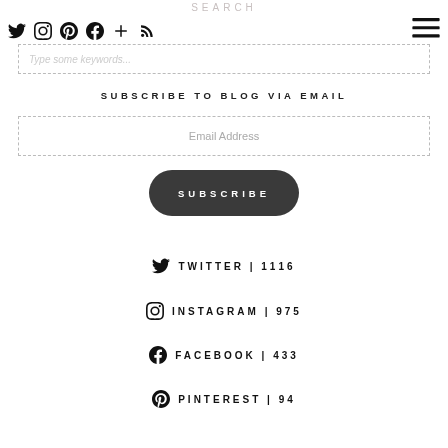SEARCH
Type some keywords...
SUBSCRIBE TO BLOG VIA EMAIL
Email Address
SUBSCRIBE
TWITTER | 1116
INSTAGRAM | 975
FACEBOOK | 433
PINTEREST | 94